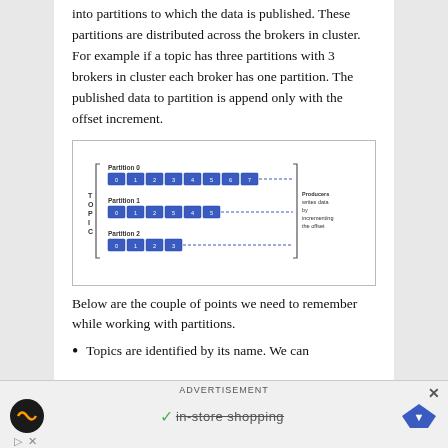into partitions to which the data is published. These partitions are distributed across the brokers in cluster. For example if a topic has three partitions with 3 brokers in cluster each broker has one partition. The published data to partition is append only with the offset increment.
[Figure (schematic): Diagram showing a TOPIC with three partitions (Partition 0, Partition 1, Partition 2). Partition 0 has 8 numbered cells (0-7), Partition 1 has 6 numbered cells (0-5), Partition 2 has 4 numbered cells (0-3). Each partition has a dashed line extending to the right. On the right side is a label: 'Producers writes data by incrementing the offset'.]
Below are the couple of points we need to remember while working with partitions.
Topics are identified by its name. We can
[Figure (other): Advertisement banner with ADVERTISEMENT label, in-store shopping text, logos and a close button.]